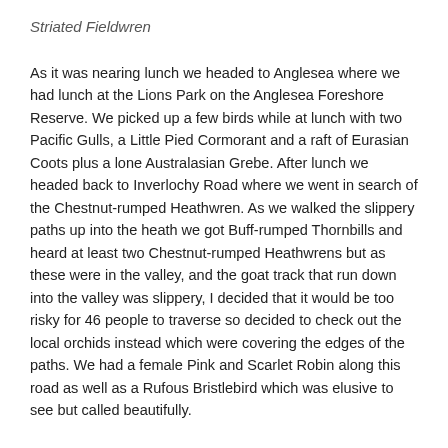Striated Fieldwren
As it was nearing lunch we headed to Anglesea where we had lunch at the Lions Park on the Anglesea Foreshore Reserve. We picked up a few birds while at lunch with two Pacific Gulls, a Little Pied Cormorant and a raft of Eurasian Coots plus a lone Australasian Grebe. After lunch we headed back to Inverlochy Road where we went in search of the Chestnut-rumped Heathwren. As we walked the slippery paths up into the heath we got Buff-rumped Thornbills and heard at least two Chestnut-rumped Heathwrens but as these were in the valley, and the goat track that run down into the valley was slippery, I decided that it would be too risky for 46 people to traverse so decided to check out the local orchids instead which were covering the edges of the paths. We had a female Pink and Scarlet Robin along this road as well as a Rufous Bristlebird which was elusive to see but called beautifully.